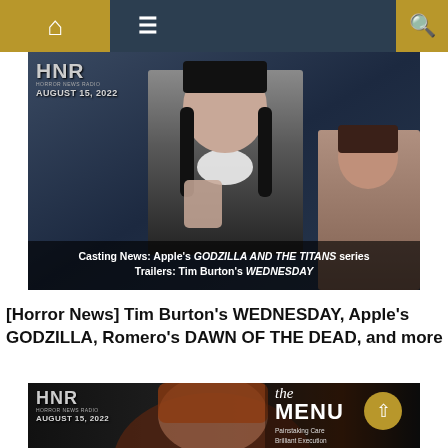Navigation bar with home icon, menu icon, and search icon
[Figure (screenshot): Horror News Radio (HNR) episode thumbnail dated AUGUST 15, 2022. Shows a dark-haired woman in Wednesday Addams-style costume in center, a woman gesturing on the right, on a dark diagonal-stripe background. Caption reads: Casting News: Apple's GODZILLA AND THE TITANS series / Trailers: Tim Burton's WEDNESDAY]
[Horror News] Tim Burton's WEDNESDAY, Apple's GODZILLA, Romero's DAWN OF THE DEAD, and more
[Figure (screenshot): Horror News Radio (HNR) episode thumbnail dated AUGUST 15, 2022. Shows a woman with reddish hair on dark background with 'the MENU' text overlay and tagline 'Painstaking Care Brilliant Execution']